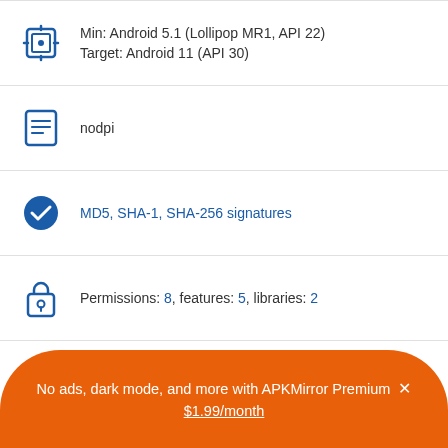Min: Android 5.1 (Lollipop MR1, API 22)
Target: Android 11 (API 30)
nodpi
MD5, SHA-1, SHA-256 signatures
Permissions: 8, features: 5, libraries: 2
Requires Android TV
Uploaded January 31, 2022 at 3:15PM GMT+0000 by HoldTheDoor
No ads, dark mode, and more with APKMirror Premium × $1.99/month